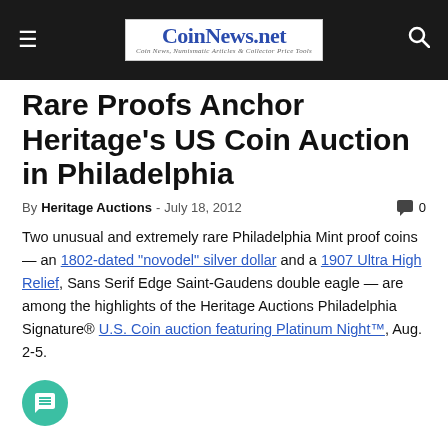CoinNews.net — Coin News, Numismatic Articles & Collector Price Tools
Rare Proofs Anchor Heritage's US Coin Auction in Philadelphia
By Heritage Auctions - July 18, 2012  0
Two unusual and extremely rare Philadelphia Mint proof coins — an 1802-dated "novodel" silver dollar and a 1907 Ultra High Relief, Sans Serif Edge Saint-Gaudens double eagle — are among the highlights of the Heritage Auctions Philadelphia Signature® U.S. Coin auction featuring Platinum Night™, Aug. 2-5.